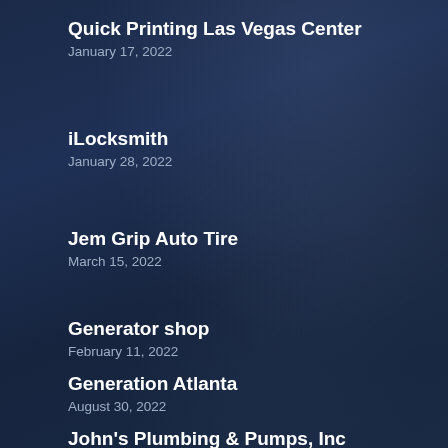Quick Printing Las Vegas Center
January 17, 2022
iLocksmith
January 28, 2022
Jem Grip Auto Tire
March 15, 2022
Generator shop
February 11, 2022
Generation Atlanta
August 30, 2022
John's Plumbing & Pumps, Inc